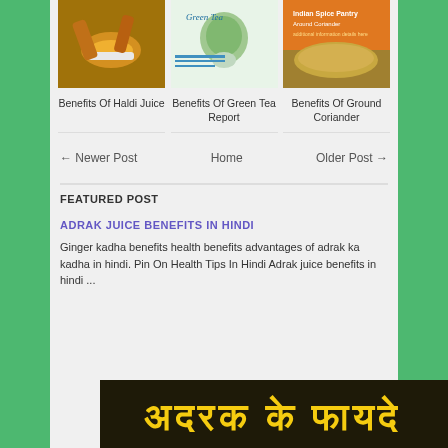[Figure (photo): Photo of haldi (turmeric) juice with spoon]
Benefits Of Haldi Juice
[Figure (photo): Photo related to Green Tea Report]
Benefits Of Green Tea Report
[Figure (photo): Photo of ground coriander spice]
Benefits Of Ground Coriander
← Newer Post
Home
Older Post →
FEATURED POST
ADRAK JUICE BENEFITS IN HINDI
Ginger kadha benefits health benefits advantages of adrak ka kadha in hindi. Pin On Health Tips In Hindi Adrak juice benefits in hindi ...
[Figure (photo): Dark background image with yellow Hindi text at bottom]